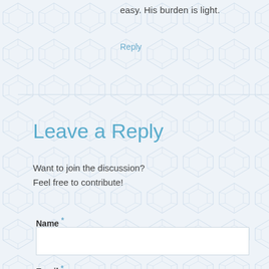easy. His burden is light.
Reply
Leave a Reply
Want to join the discussion?
Feel free to contribute!
Name *
Email *
Website